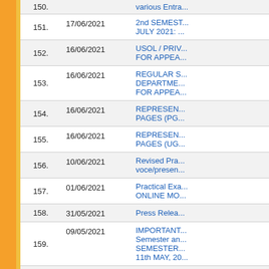| No. | Date | Title |
| --- | --- | --- |
| 150. |  | various Entra... |
| 151. | 17/06/2021 | 2nd SEMEST... JULY 2021: ... |
| 152. | 16/06/2021 | USOL / PRIV... FOR APPEA... |
| 153. | 16/06/2021 | REGULAR S... DEPARTME... FOR APPEA... |
| 154. | 16/06/2021 | REPRESEN... PAGES (PG... |
| 155. | 16/06/2021 | REPRESEN... PAGES (UG... |
| 156. | 10/06/2021 | Revised Pra... voce/presen... |
| 157. | 01/06/2021 | Practical Exa... ONLINE MO... |
| 158. | 31/05/2021 | Press Relea... |
| 159. | 09/05/2021 | IMPORTANT... Semester an... SEMESTER... 11th MAY, 20... |
| 160. | 16/04/2021 | Press Rele... |